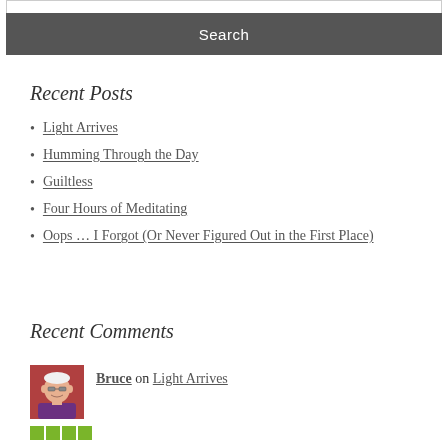Search
Recent Posts
Light Arrives
Humming Through the Day
Guiltless
Four Hours of Meditating
Oops … I Forgot (Or Never Figured Out in the First Place)
Recent Comments
Bruce on Light Arrives